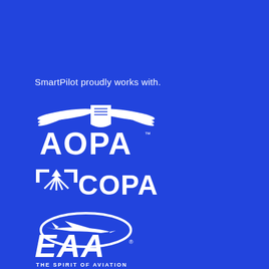SmartPilot proudly works with.
[Figure (logo): AOPA logo — winged shield emblem above large white text 'AOPA' with trademark symbol, on blue background]
[Figure (logo): COPA logo — stylized parachute/wing icon to the left of large white text 'COPA', on blue background]
[Figure (logo): EAA logo — airplane encircled by an oval above large white italic text 'EAA' with registered trademark, and tagline 'THE SPIRIT OF AVIATION', on blue background]